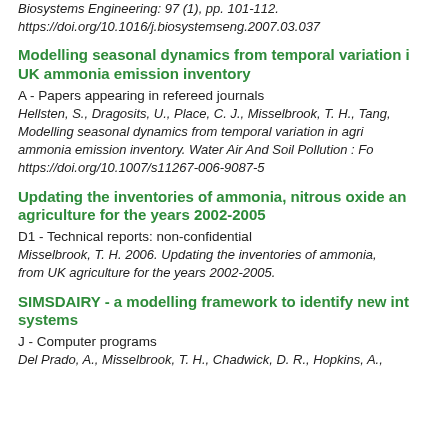Biosystems Engineering: 97 (1), pp. 101-112. https://doi.org/10.1016/j.biosystemseng.2007.03.037
Modelling seasonal dynamics from temporal variation in UK ammonia emission inventory
A - Papers appearing in refereed journals
Hellsten, S., Dragosits, U., Place, C. J., Misselbrook, T. H., Tang, Modelling seasonal dynamics from temporal variation in agri ammonia emission inventory. Water Air And Soil Pollution : Fo https://doi.org/10.1007/s11267-006-9087-5
Updating the inventories of ammonia, nitrous oxide and agriculture for the years 2002-2005
D1 - Technical reports: non-confidential
Misselbrook, T. H. 2006. Updating the inventories of ammonia, from UK agriculture for the years 2002-2005.
SIMSDAIRY - a modelling framework to identify new inte systems
J - Computer programs
Del Prado, A., Misselbrook, T. H., Chadwick, D. R., Hopkins, A.,